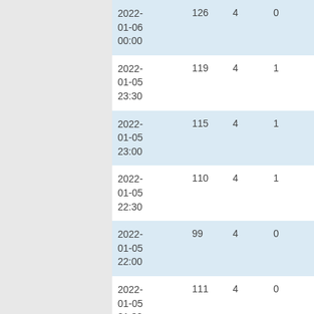| datetime | col1 | col2 | col3 | col4 |
| --- | --- | --- | --- | --- |
| 2022-01-06 00:00 | 126 | 4 | 0 | 6 |
| 2022-01-05 23:30 | 119 | 4 | 1 | 3 |
| 2022-01-05 23:00 | 115 | 4 | 1 | 5 |
| 2022-01-05 22:30 | 110 | 4 | 1 | 7 |
| 2022-01-05 22:00 | 99 | 4 | 0 | 3 |
| 2022-01-05 21:30 | 111 | 4 | 0 | 6 |